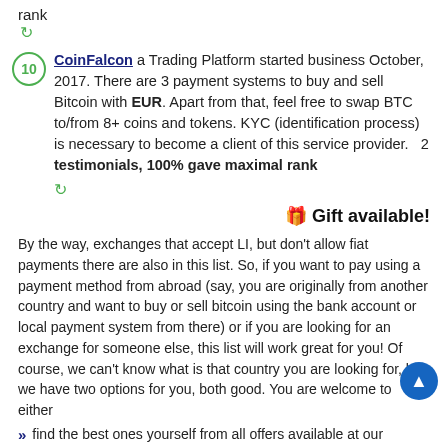rank
10. CoinFalcon a Trading Platform started business October, 2017. There are 3 payment systems to buy and sell Bitcoin with EUR. Apart from that, feel free to swap BTC to/from 8+ coins and tokens. KYC (identification process) is necessary to become a client of this service provider. 2 testimonials, 100% gave maximal rank
🎁 Gift available!
By the way, exchanges that accept LI, but don't allow fiat payments there are also in this list. So, if you want to pay using a payment method from abroad (say, you are originally from another country and want to buy or sell bitcoin using the bank account or local payment system from there) or if you are looking for an exchange for someone else, this list will work great for you! Of course, we can't know what is that country you are looking for, but we have two options for you, both good. You are welcome to either
find the best ones yourself from all offers available at our comparison @ ExchangeRates.Pro. For example, if you are looking for an exchange for Switzerland assuming that you have a local bank account there, a address confirmation, etc: compare rates to buy and sell Bitcoin in Switzerland
...or just explore the great websites listed above to find